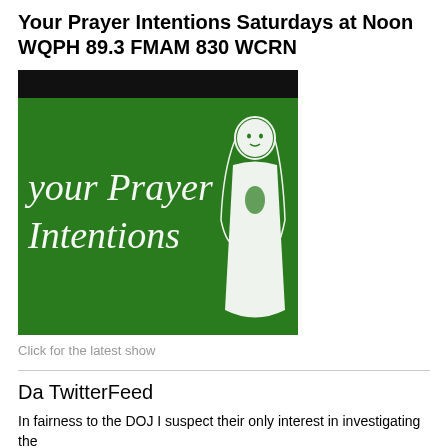Your Prayer Intentions Saturdays at Noon WQPH 89.3 FMAM 830 WCRN
[Figure (illustration): Green background logo/graphic for 'Your Prayer Intentions' radio show featuring decorative script text and a white illustration of a praying Madonna figure on the right side, with a black banner at the top.]
Click for the latest show
Da TwitterFeed
In fairness to the DOJ I suspect their only interest in investigating the